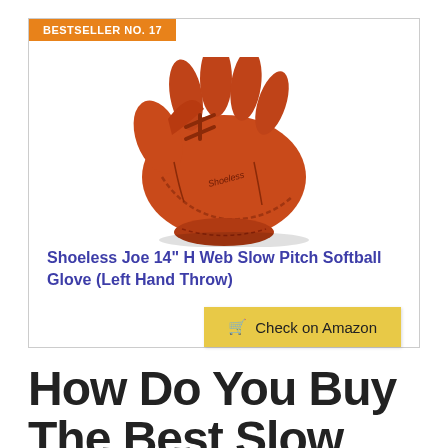[Figure (photo): Red/brown leather softball glove (Shoeless Joe brand) photographed on white background]
BESTSELLER NO. 17
Shoeless Joe 14" H Web Slow Pitch Softball Glove (Left Hand Throw)
Check on Amazon
How Do You Buy The Best Slow